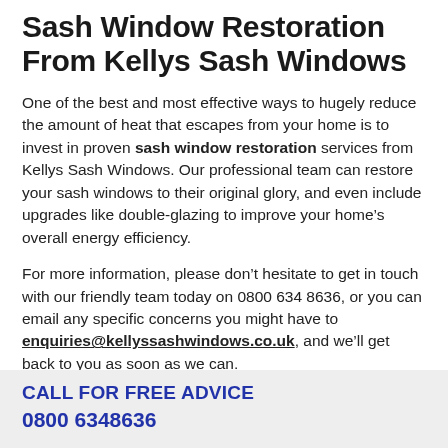Sash Window Restoration From Kellys Sash Windows
One of the best and most effective ways to hugely reduce the amount of heat that escapes from your home is to invest in proven sash window restoration services from Kellys Sash Windows. Our professional team can restore your sash windows to their original glory, and even include upgrades like double-glazing to improve your home’s overall energy efficiency.
For more information, please don’t hesitate to get in touch with our friendly team today on 0800 634 8636, or you can email any specific concerns you might have to enquiries@kellyssashwindows.co.uk, and we’ll get back to you as soon as we can.
CALL FOR FREE ADVICE
0800 6348636